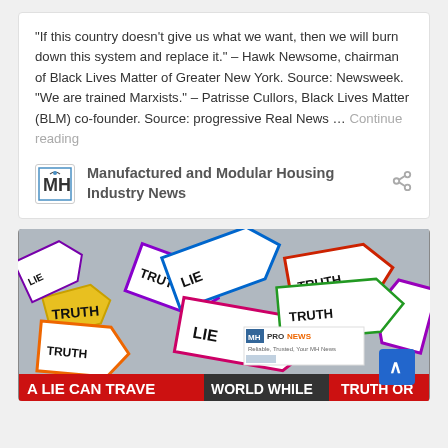“If this country doesn’t give us what we want, then we will burn down this system and replace it.” – Hawk Newsome, chairman of Black Lives Matter of Greater New York. Source: Newsweek. “We are trained Marxists.” – Patrisse Cullors, Black Lives Matter (BLM) co-founder. Source: progressive Real News … Continue reading
Manufactured and Modular Housing Industry News
[Figure (photo): A pile of colorful arrow-shaped signs with the words TRUTH and LIE printed on them in black bold text. At the bottom of the image text reads: A LIE CAN TRAVEL ... WORLD WHILE ... TRUTH OR]